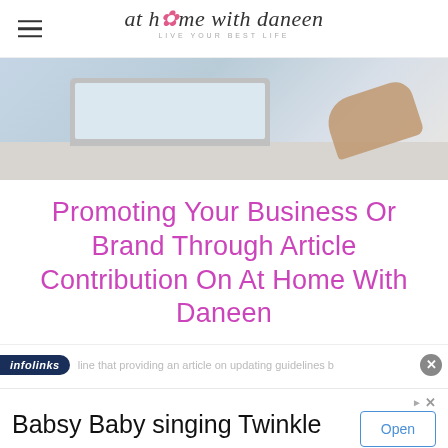at home with daneen — LIVE YOUR BEST LIFE
[Figure (photo): Person working at a laptop on a desk, partial view showing hands and laptop]
Promoting Your Business Or Brand Through Article Contribution On At Home With Daneen
infolinks — ...line that providing an article on updating guidelines...
Babsy Baby singing Twinkle
Babsy Baby Singing Twinkle Little Star Kaufcom GmbH